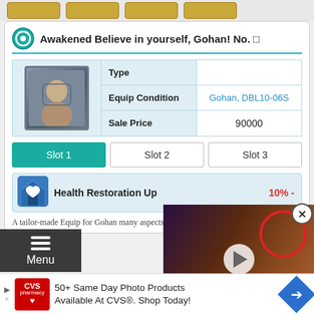[Figure (screenshot): Top icon buttons row (4 gold/amber colored icon buttons)]
Awakened Believe in yourself, Gohan! No. □
|  | Type |  |
| --- | --- | --- |
| [character image] | Type |  |
|  | Equip Condition | Gohan, DBL10-06S |
|  | Sale Price | 90000 |
Slot 1
Slot 2
Slot 3
[Figure (illustration): Health Restoration Up ability icon — blue house with heart]
Health Restoration Up
10% -
A tailor-made Equip for Gohan many aspects of his kit, making
[Figure (screenshot): Video overlay showing anime character with elf ears and yellow eyes, play button, PLAYS label, close button]
Menu
Top
[Figure (screenshot): CVS Pharmacy advertisement: 50+ Same Day Photo Products Available At CVS®. Shop Today!]